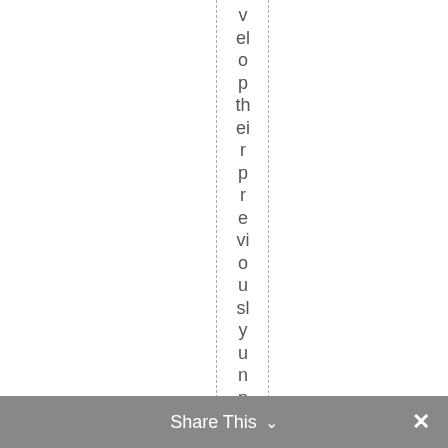velop their previously unproduce d
Share This ∨  ✕